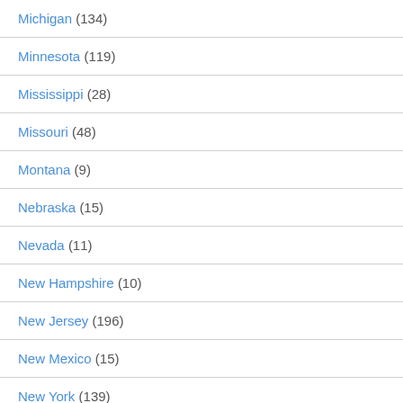Michigan (134)
Minnesota (119)
Mississippi (28)
Missouri (48)
Montana (9)
Nebraska (15)
Nevada (11)
New Hampshire (10)
New Jersey (196)
New Mexico (15)
New York (139)